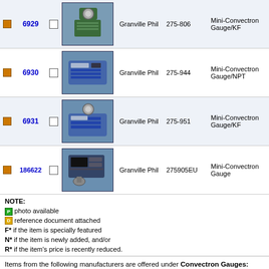|  | ID |  | Image | Manufacturer | Part# | Description |
| --- | --- | --- | --- | --- | --- | --- |
| [orange box] | 6929 | [ ] | [product image] | Granville Phil | 275-806 | Mini-Convectron Gauge/KF |
| [orange box] | 6930 | [ ] | [product image] | Granville Phil | 275-944 | Mini-Convectron Gauge/NPT |
| [orange box] | 6931 | [ ] | [product image] | Granville Phil | 275-951 | Mini-Convectron Gauge/KF |
| [orange box] | 186622 | [ ] | [product image] | Granville Phil | 275905EU | Mini-Convectron Gauge |
NOTE:
[green] photo available
[orange] reference document attached
F* if the item is specially featured
N* if the item is newly added, and/or
R* if the item's price is recently reduced.
Items from the following manufacturers are offered under Convectron Gauges:
Edwards, Granville Phillips